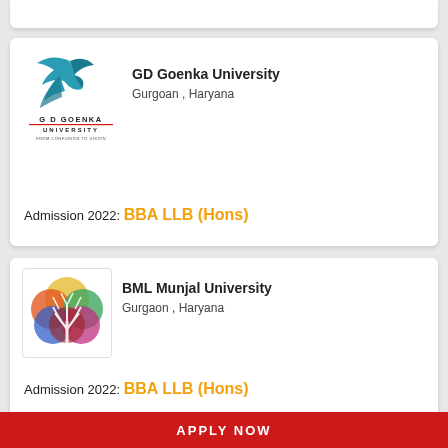[Figure (logo): GD Goenka University logo with bird and text]
GD Goenka University
Gurgoan , Haryana
Admission 2022: BBA LLB (Hons)
[Figure (logo): BML Munjal University logo with colorful tree circles]
BML Munjal University
Gurgaon , Haryana
Admission 2022: BBA LLB (Hons)
APPLY NOW